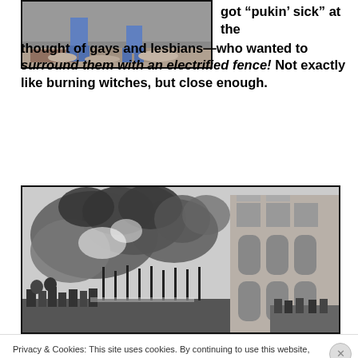[Figure (photo): Partial view of people at ground level, appears to be an outdoor scene]
got “pukin’ sick” at the thought of gays and lesbians—who wanted to surround them with an electrified fence! Not exactly like burning witches, but close enough.
[Figure (illustration): Black and white historical engraving/illustration showing a chaotic scene with smoke and fire in front of a large ornate building, with crowds of people]
Privacy & Cookies: This site uses cookies. By continuing to use this website, you agree to their use.
To find out more, including how to control cookies, see here: Cookie Policy
Close and accept